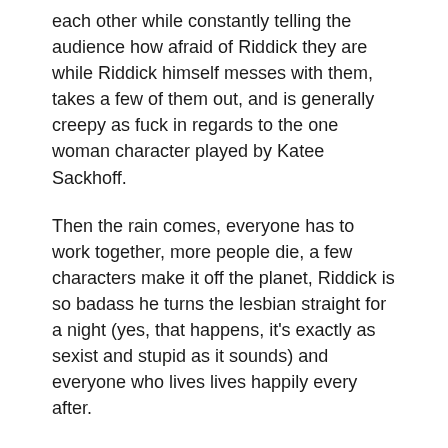each other while constantly telling the audience how afraid of Riddick they are while Riddick himself messes with them, takes a few of them out, and is generally creepy as fuck in regards to the one woman character played by Katee Sackhoff.
Then the rain comes, everyone has to work together, more people die, a few characters make it off the planet, Riddick is so badass he turns the lesbian straight for a night (yes, that happens, it's exactly as sexist and stupid as it sounds) and everyone who lives lives happily every after.
In case you can't tell, this isn't a very good movie. It has a few decent action scenes and there's some parts that are unintentionally hilarious which almost make up for how dumb it is, but at the end of the day it is just a dumb action movie with some serious misogyny problems.